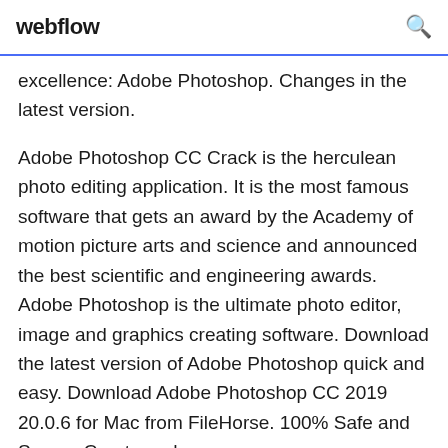webflow
excellence: Adobe Photoshop. Changes in the latest version.
Adobe Photoshop CC Crack is the herculean photo editing application. It is the most famous software that gets an award by the Academy of motion picture arts and science and announced the best scientific and engineering awards. Adobe Photoshop is the ultimate photo editor, image and graphics creating software. Download the latest version of Adobe Photoshop quick and easy. Download Adobe Photoshop CC 2019 20.0.6 for Mac from FileHorse. 100% Safe and Secure Create and